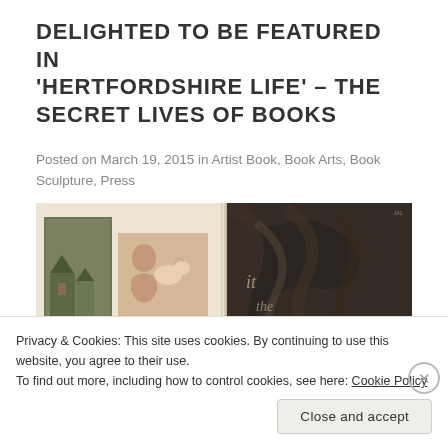DELIGHTED TO BE FEATURED IN 'HERTFORDSHIRE LIFE' – THE SECRET LIVES OF BOOKS
Posted on March 19, 2015 in Artist Book, Book Arts, Book Sculpture, Press
[Figure (photo): Open book spread showing a magazine layout. Left page has a Copper Beech Gallery advertisement with a painting of a cottage, and a photo of a woman laughing with a dog. Right page shows dark swirling marbled artwork with text overlaid.]
Privacy & Cookies: This site uses cookies. By continuing to use this website, you agree to their use.
To find out more, including how to control cookies, see here: Cookie Policy